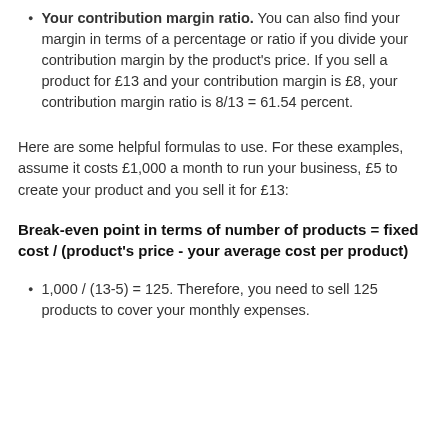Your contribution margin ratio. You can also find your margin in terms of a percentage or ratio if you divide your contribution margin by the product's price. If you sell a product for £13 and your contribution margin is £8, your contribution margin ratio is 8/13 = 61.54 percent.
Here are some helpful formulas to use. For these examples, assume it costs £1,000 a month to run your business, £5 to create your product and you sell it for £13:
Break-even point in terms of number of products = fixed cost / (product's price - your average cost per product)
1,000 / (13-5) = 125. Therefore, you need to sell 125 products to cover your monthly expenses.